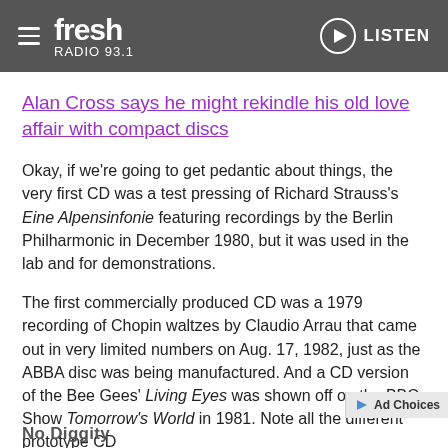Fresh Radio 93.1 — LISTEN
Alan Cross says he might rekindle his old love affair with compact discs
Okay, if we're going to get pedantic about things, the very first CD was a test pressing of Richard Strauss's Eine Alpensinfonie featuring recordings by the Berlin Philharmonic in December 1980, but it was used in the lab and for demonstrations.
The first commercially produced CD was a 1979 recording of Chopin waltzes by Claudio Arrau that came out in very limited numbers on Aug. 17, 1982, just as the ABBA disc was being manufactured. And a CD version of the Bee Gees' Living Eyes was shown off on the BBC Show Tomorrow's World in 1981. Note all the different prototype CD
No Diggity